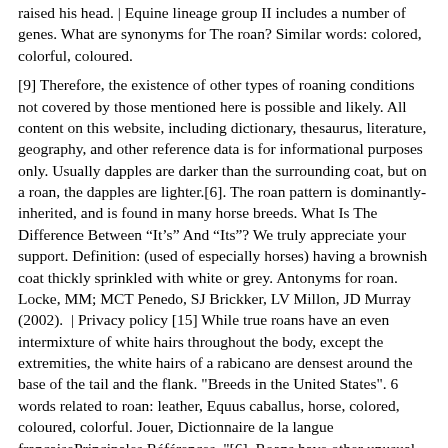raised his head. | Equine lineage group II includes a number of genes. What are synonyms for The roan? Similar words: colored, colorful, coloured.
[9] Therefore, the existence of other types of roaning conditions not covered by those mentioned here is possible and likely. All content on this website, including dictionary, thesaurus, literature, geography, and other reference data is for informational purposes only. Usually dapples are darker than the surrounding coat, but on a roan, the dapples are lighter.[6]. The roan pattern is dominantly-inherited, and is found in many horse breeds. What Is The Difference Between “It’s” And “Its”? We truly appreciate your support. Definition: (used of especially horses) having a brownish coat thickly sprinkled with white or grey. Antonyms for roan. Locke, MM; MCT Penedo, SJ Brickker, LV Millon, JD Murray (2002).  | Privacy policy [15] While true roans have an even intermixture of white hairs throughout the body, except the extremities, the white hairs of a rabicano are densest around the base of the tail and the flank. "Breeds in the United States". 6 words related to roan: leather, Equus caballus, horse, colored, coloured, colorful. Jouer, Dictionnaire de la langue françaisePrincipales Références. "[6], Roans have other unusual characteristics. There was a roan horse in this one which I knew to belong to the doctor. [17], True or classic roan is common in European draft breeds such as the Brabant, Ardennes, Trait Du Nord, Italian Heavy Draft, and Rhenish-German Cold-Blood. [17]